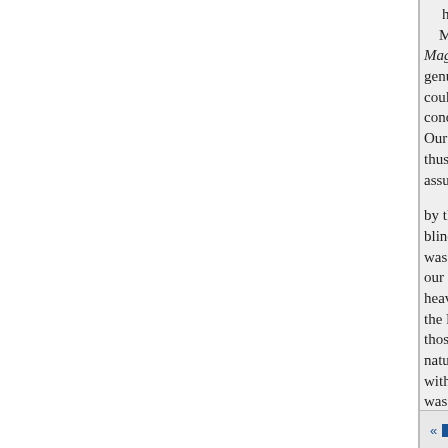hey chiefly contain. with non l Mr. Carlyle published them si Magazine, with a very explicit te genuineness from himself, and a could give of the " singular cir- s conditions" under which they ha Our account is scrupulously and thus furnished by Mr. not time to assumption of the results throug by that sincere strong will which blinding mists from the figure of was substituting for the rebelciti our family of A. which had activ heavenly of its then representativ the Roundhead side, in the great those feuds had left many sorro natural ; and these had descende with worthy people liv- ancestor was perhaps not actions. Then ca one.
« □□□